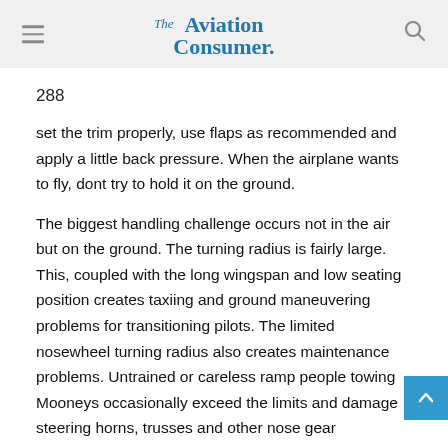The Aviation Consumer
288
set the trim properly, use flaps as recommended and apply a little back pressure. When the airplane wants to fly, dont try to hold it on the ground.
The biggest handling challenge occurs not in the air but on the ground. The turning radius is fairly large. This, coupled with the long wingspan and low seating position creates taxiing and ground maneuvering problems for transitioning pilots. The limited nosewheel turning radius also creates maintenance problems. Untrained or careless ramp people towing Mooneys occasionally exceed the limits and damage steering horns, trusses and other nose gear components.